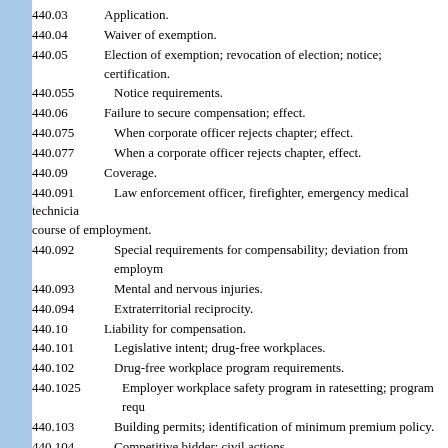440.03    Application.
440.04    Waiver of exemption.
440.05    Election of exemption; revocation of election; notice; certification.
440.055    Notice requirements.
440.06    Failure to secure compensation; effect.
440.075    When corporate officer rejects chapter; effect.
440.077    When a corporate officer rejects chapter, effect.
440.09    Coverage.
440.091    Law enforcement officer, firefighter, emergency medical technician; course of employment.
440.092    Special requirements for compensability; deviation from employment.
440.093    Mental and nervous injuries.
440.094    Extraterritorial reciprocity.
440.10    Liability for compensation.
440.101    Legislative intent; drug-free workplaces.
440.102    Drug-free workplace program requirements.
440.1025    Employer workplace safety program in ratesetting; program requirements.
440.103    Building permits; identification of minimum premium policy.
440.104    Competitive bidder; civil actions.
440.105    Prohibited activities; reports; penalties; limitations.
440.1051    Fraud reports; civil immunity; criminal penalties.
440.106    Civil remedies; administrative penalties.
440.107    ...